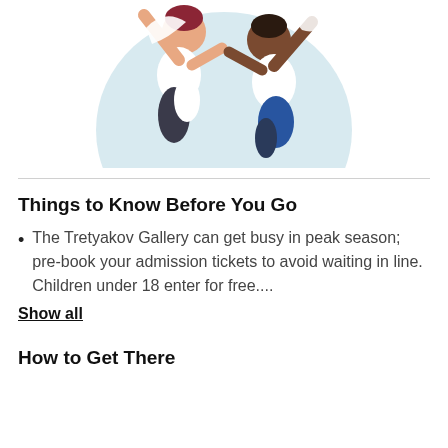[Figure (illustration): Two people high-fiving or jumping in celebration, illustrated figures on a light blue circular background. One person has red/dark hair and white shirt, the other is darker-skinned with white shirt and blue pants. The image is cropped at the top.]
Things to Know Before You Go
The Tretyakov Gallery can get busy in peak season; pre-book your admission tickets to avoid waiting in line. Children under 18 enter for free....
Show all
How to Get There